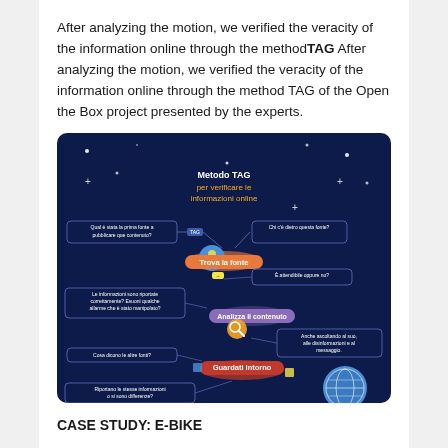After analyzing the motion, we verified the veracity of the information online through the method TAG After analyzing the motion, we verified the veracity of the information online through the method TAG of the Open the Box project presented by the experts.
[Figure (infographic): Infographic titled 'Metodo TAG per verificare le informazioni online' on a dark navy background. Shows a flowchart with three main steps: 'Trova la fonte' (Find the source), 'Analizza il contenuto' (Analyze the content), and 'Guardati Intorno' (Look Around), each connected by arrows with surrounding question boxes in Italian.]
CASE STUDY: E-BIKE